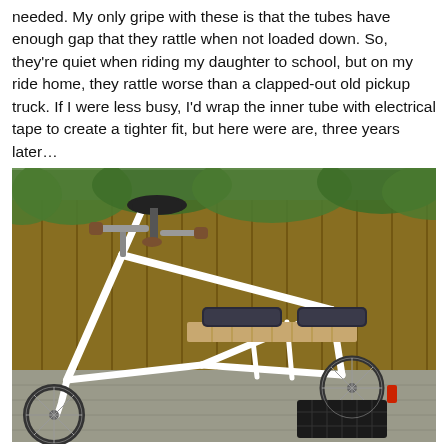needed. My only gripe with these is that the tubes have enough gap that they rattle when not loaded down. So, they're quiet when riding my daughter to school, but on my ride home, they rattle worse than a clapped-out old pickup truck. If I were less busy, I'd wrap the inner tube with electrical tape to create a tighter fit, but here were are, three years later…
[Figure (photo): A white cargo/longtail bicycle parked outdoors in front of a wooden fence with green foliage. The bike has a long rear rack with a wooden deck and two black padded cushions strapped on top. The handlebars are brown-gripped and the saddle is black. A rear basket is visible below the rack.]